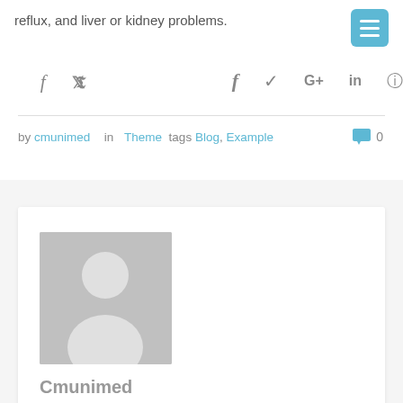reflux, and liver or kidney problems.
[Figure (infographic): Social media share icons: Facebook (f), Twitter, Google+, LinkedIn (in), Pinterest]
by cmunimed  in Theme  tags Blog, Example  0
[Figure (photo): Default avatar placeholder image with silhouette of a person on grey background]
Cmunimed